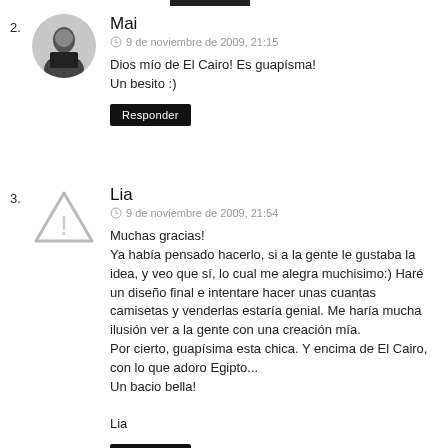2.
[Figure (photo): Circular avatar photo of user Mai, showing a person in dark clothing]
Mai
9 de noviembre de 2009, 21:15
Dios mío de El Cairo! Es guapísma!
Un besito :)
Responder
3.
[Figure (illustration): Warning triangle icon with exclamation mark as avatar placeholder for user Lia]
Lia
9 de noviembre de 2009, 21:54
Muchas gracias!
Ya había pensado hacerlo, si a la gente le gustaba la idea, y veo que sí, lo cual me alegra muchisimo:) Haré un diseño final e intentare hacer unas cuantas camisetas y venderlas estaría genial. Me haría mucha ilusión ver a la gente con una creación mía.
Por cierto, guapísima esta chica. Y encima de El Cairo, con lo que adoro Egipto...
Un bacio bella!

Lia
Responder